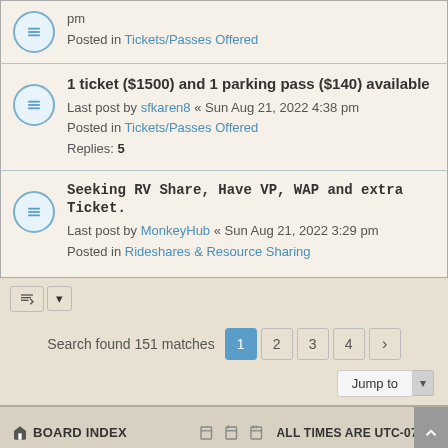pm
Posted in Tickets/Passes Offered
1 ticket ($1500) and 1 parking pass ($140) available
Last post by sfkaren8 « Sun Aug 21, 2022 4:38 pm
Posted in Tickets/Passes Offered
Replies: 5
Seeking RV Share, Have VP, WAP and extra Ticket.
Last post by MonkeyHub « Sun Aug 21, 2022 3:29 pm
Posted in Rideshares & Resource Sharing
Search found 151 matches
Jump to
BOARD INDEX   ALL TIMES ARE UTC-07:00
Powered by phpBB® Forum Software © phpBB Limited
GZIP: On